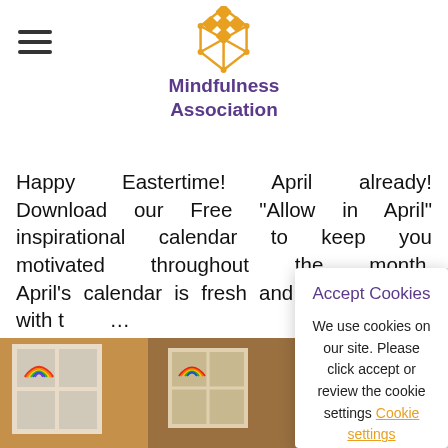Mindfulness Association
Happy Eastertime! April already! Download our Free “Allow in April” inspirational calendar to keep you motivated throughout the month. April’s calendar is fresh and ready for you with the… fill it up as… allow! you… whatever…
[Figure (screenshot): Cookie consent dialog box with title 'Accept Cookies', body text 'We use cookies on our site. Please click accept or review the cookie settings', a 'Cookie settings' link, and an 'Accept' button]
[Figure (photo): Bottom strip showing photos of rainbow artwork in windows and colorful drawings]